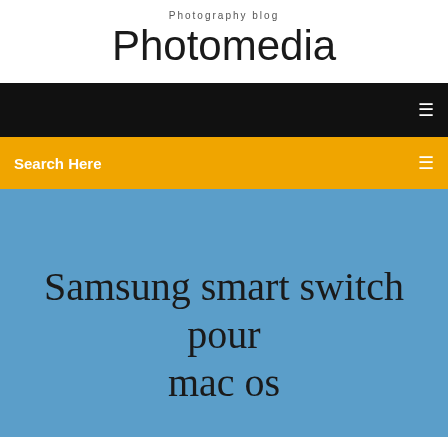Photography blog
Photomedia
[Figure (screenshot): Black navigation bar with a small icon on the right]
[Figure (screenshot): Yellow/orange search bar with 'Search Here' text and search icon]
Samsung smart switch pour mac os